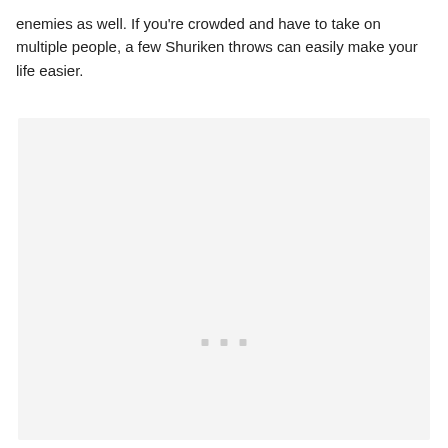enemies as well. If you're crowded and have to take on multiple people, a few Shuriken throws can easily make your life easier.
[Figure (other): A light gray rectangular placeholder image area with three small gray square dots centered near the middle-lower portion of the box.]